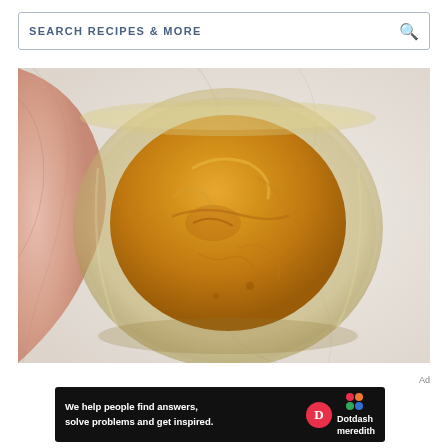SEARCH RECIPES & MORE
[Figure (photo): Overhead view of a golden-orange ball of dough in a round glass bowl, placed on a white marble surface with a pink linen cloth visible on the left side]
Ad
[Figure (infographic): Black advertisement banner for Dotdash Meredith showing text 'We help people find answers, solve problems and get inspired.' with a red D circle logo and colorful Dotdash Meredith logo]